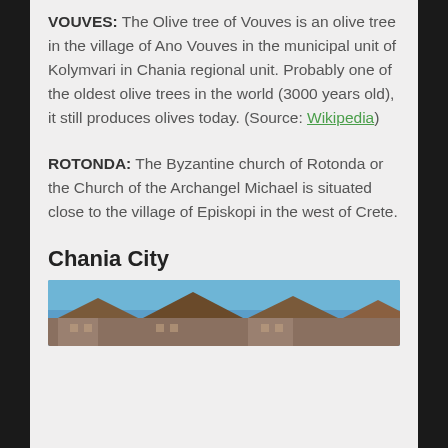VOUVES: The Olive tree of Vouves is an olive tree in the village of Ano Vouves in the municipal unit of Kolymvari in Chania regional unit. Probably one of the oldest olive trees in the world (3000 years old), it still produces olives today. (Source: Wikipedia)
ROTONDA: The Byzantine church of Rotonda or the Church of the Archangel Michael is situated close to the village of Episkopi in the west of Crete.
Chania City
[Figure (photo): Partial photograph of Chania city showing rooftops and buildings under a blue sky]